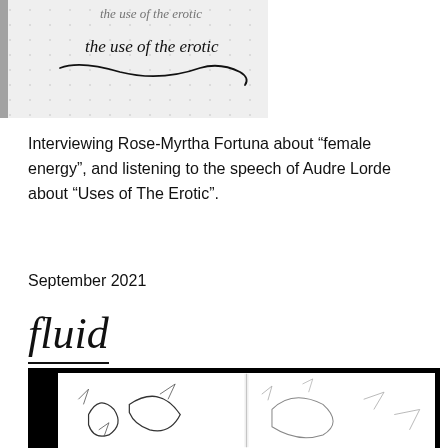[Figure (photo): Handwritten cursive text on dotted notebook paper reading 'the use of the erotic' with decorative underline flourish. Top portion is cropped with partial text visible above.]
Interviewing Rose-Myrtha Fortuna about “female energy”, and listening to the speech of Audre Lorde about “Uses of The Erotic”.
September 2021
fluid
[Figure (photo): Open notebook or sketchbook with loose, abstract pencil or ink sketches of curved and angular forms on white pages, shown against a black background.]